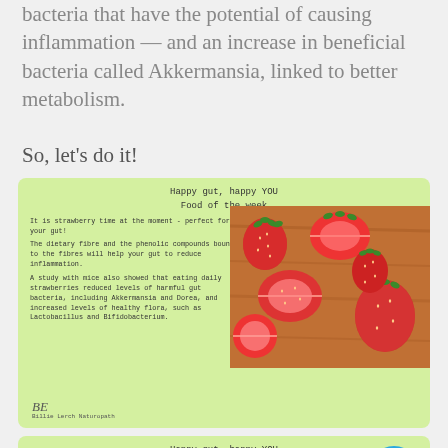bacteria that have the potential of causing inflammation — and an increase in beneficial bacteria called Akkermansia, linked to better metabolism.
So, let's do it!
[Figure (infographic): Green card titled 'Happy gut, happy YOU Food of the week' about strawberries. Text describes strawberry benefits for gut health including dietary fibre, phenolic compounds, and study with mice showing reduced harmful bacteria. Includes photo of fresh strawberries. Signed by Billie Lerch Naturopath.]
[Figure (infographic): Green card titled 'Happy gut, happy YOU Food of the week' about mushrooms. Text begins: Mushrooms - disliked by many children and lots of adults - can alter your gut microbiome! Scientist found that the gut of mice eating...]